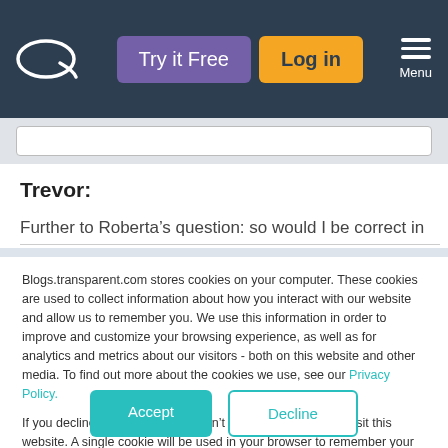Try it Free | Log in | Menu
Trevor:
Further to Roberta’s question: so would I be correct in
Blogs.transparent.com stores cookies on your computer. These cookies are used to collect information about how you interact with our website and allow us to remember you. We use this information in order to improve and customize your browsing experience, as well as for analytics and metrics about our visitors - both on this website and other media. To find out more about the cookies we use, see our Privacy Policy.
If you decline, your information won’t be tracked when you visit this website. A single cookie will be used in your browser to remember your preference not to be tracked.
Accept | Decline